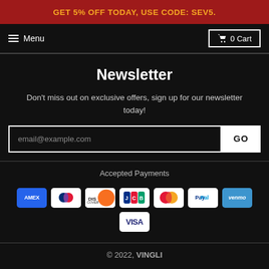GET 5% OFF TODAY, USE CODE: SEV5.
≡ Menu   🛒 0 Cart
Newsletter
Don't miss out on exclusive offers, sign up for our newsletter today!
email@example.com  GO
Accepted Payments
[Figure (other): Payment method icons: AMEX, Diners Club, Discover, JCB, Mastercard, PayPal, Venmo, Visa]
© 2022, VINGLI